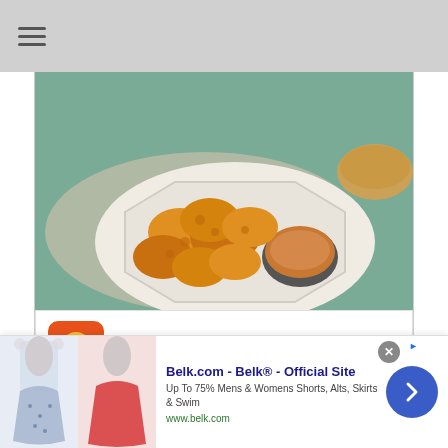☰ (hamburger menu)
[Figure (photo): Plate of golden fried chicken nuggets with dipping sauce on a white octagonal plate with bread in background on a teal surface]
[Figure (logo): Pollo Campero orange brand icon with chicken logo]
Podemos Entregar
[Figure (map): Small map thumbnail showing location pins near Herndon]
Pollo Campero
Herndon 10AM–10PM
OUR PEOPLE
[Figure (screenshot): Belk.com advertisement banner: 'Belk.com - Belk® - Official Site — Up To 75% Mens & Womens Shorts, Alts, Skirts & Swim — www.belk.com' with photos of women wearing skirts]